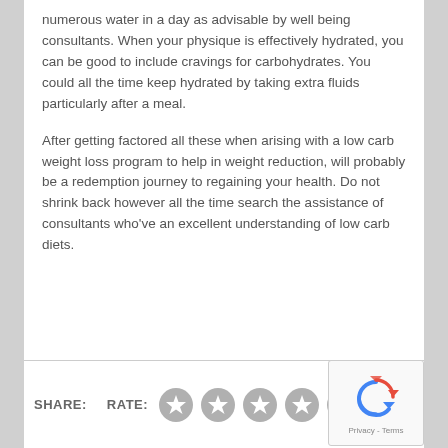numerous water in a day as advisable by well being consultants. When your physique is effectively hydrated, you can be good to include cravings for carbohydrates. You could all the time keep hydrated by taking extra fluids particularly after a meal.
After getting factored all these when arising with a low carb weight loss program to help in weight reduction, will probably be a redemption journey to regaining your health. Do not shrink back however all the time search the assistance of consultants who've an excellent understanding of low carb diets.
SHARE:   RATE:   [5 star icons]